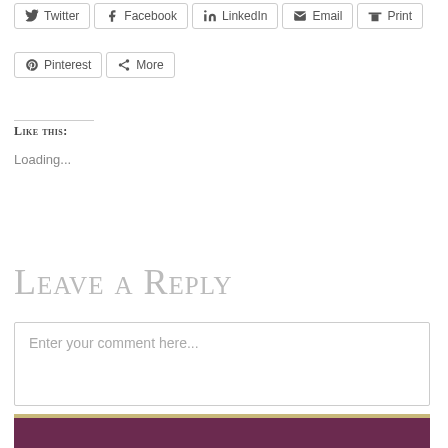Twitter
Facebook
LinkedIn
Email
Print
Pinterest
More
Like this:
Loading...
Leave a Reply
Enter your comment here...